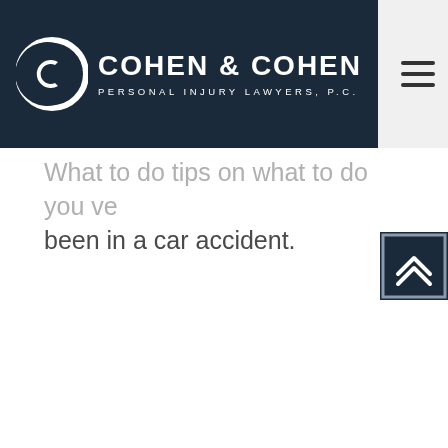Cohen & Cohen Personal Injury Lawyers, P.C.
been in a car accident.
[Figure (other): Scroll-to-top button with double chevron up arrow, dark navy background with border]